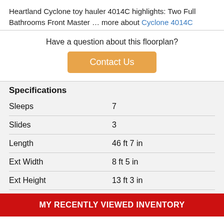Heartland Cyclone toy hauler 4014C highlights: Two Full Bathrooms Front Master … more about Cyclone 4014C
Have a question about this floorplan?
Contact Us
Specifications
| Spec | Value |
| --- | --- |
| Sleeps | 7 |
| Slides | 3 |
| Length | 46 ft 7 in |
| Ext Width | 8 ft 5 in |
| Ext Height | 13 ft 3 in |
| Interior Color | Luna Frost |
| Exterior Color | Black, Blue, |
MY RECENTLY VIEWED INVENTORY